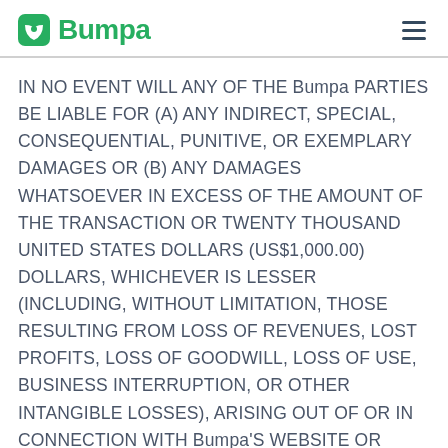Bumpa
IN NO EVENT WILL ANY OF THE Bumpa PARTIES BE LIABLE FOR (A) ANY INDIRECT, SPECIAL, CONSEQUENTIAL, PUNITIVE, OR EXEMPLARY DAMAGES OR (B) ANY DAMAGES WHATSOEVER IN EXCESS OF THE AMOUNT OF THE TRANSACTION OR TWENTY THOUSAND UNITED STATES DOLLARS (US$1,000.00) DOLLARS, WHICHEVER IS LESSER (INCLUDING, WITHOUT LIMITATION, THOSE RESULTING FROM LOSS OF REVENUES, LOST PROFITS, LOSS OF GOODWILL, LOSS OF USE, BUSINESS INTERRUPTION, OR OTHER INTANGIBLE LOSSES), ARISING OUT OF OR IN CONNECTION WITH Bumpa'S WEBSITE OR SERVICES (INCLUDING, WITHOUT LIMITATION, USE, INABILITY TO USE, OR THE RESULTS OF USE OF Bumpa'S WEBSITE